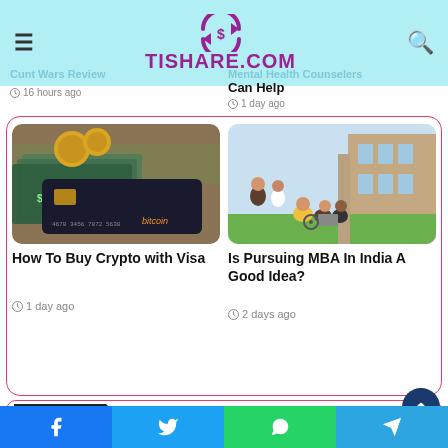[Figure (logo): Tishare.com logo with circular arrow icon in purple on light blue header background]
Cunt Wars Review
16 hours ago
Mental Health Counselers Can Help
1 day ago
[Figure (photo): Bitcoin credit card with dollar bills and coins]
How To Buy Crypto with Visa
1 day ago
[Figure (photo): Group of students sitting on grass outside a building]
Is Pursuing MBA In India A Good Idea?
2 days ago
Categories
[Figure (other): Social share bar with Facebook, Twitter, WhatsApp, Telegram buttons]